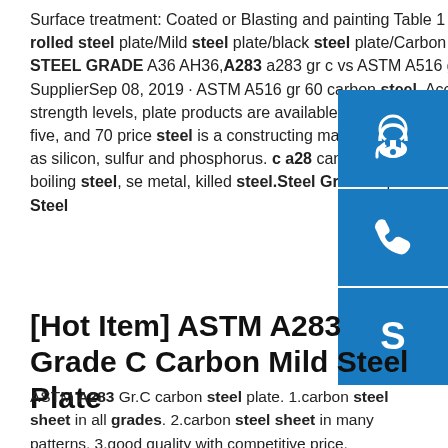Surface treatment: Coated or Blasting and painting Table 1 COMMODITY Hot rolled steel plate/Mild steel plate/black steel plate/Carbon steel plate/sheet 2 STEEL GRADE A36 AH36,A283 a283 gr c vs ASTM A516 gr 60 - Steel Mate SupplierSep 08, 2019 · ASTM A516 gr 60 carbon steel. According to different strength levels, plate products are available in four gradesGrades 55, 60, sixty five, and 70 price steel is a constructing material composed of chemical elements such as silicon, sulfur and phosphorus. c a283 can be used F, b, z have been eed as boiling steel, semi metal, killed steel.Steel Grade Equivalents Table Universal Steel
[Figure (infographic): Three blue square icons stacked vertically on the right side: customer service headset icon, phone/call icon, and Skype icon]
[Hot Item] ASTM A283 Grade C Carbon Mild Steel Plate
ASTM A283 Gr.C carbon steel plate. 1.carbon steel sheet in all grades. 2.carbon steel sheet in many patterns. 3.good quality with competitive price. 4.thickness:3mm-600mm. 5.length:1m-12m...